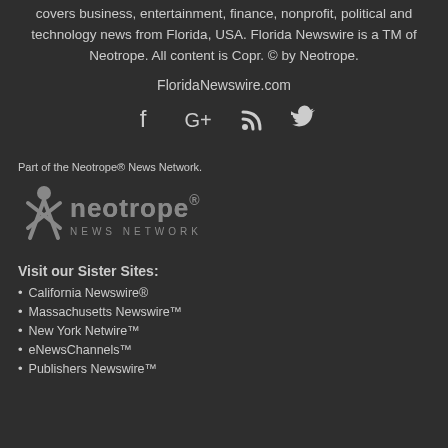covers business, entertainment, finance, nonprofit, political and technology news from Florida, USA. Florida Newswire is a TM of Neotrope. All content is Copr. © by Neotrope.
FloridaNewswire.com
[Figure (infographic): Social media icons: Facebook, Google+, RSS feed, Twitter]
Part of the Neotrope® News Network.
[Figure (logo): Neotrope News Network logo with stylized X figure and text]
Visit our Sister Sites:
California Newswire®
Massachusetts Newswire™
New York Netwire™
eNewsChannels™
Publishers Newswire™